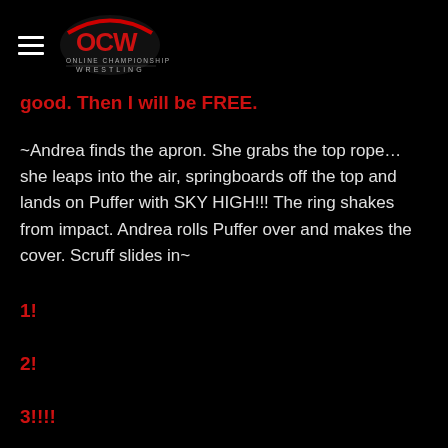OCW Online Championship Wrestling
good. Then I will be FREE.
~Andrea finds the apron. She grabs the top rope…she leaps into the air, springboards off the top and lands on Puffer with SKY HIGH!!! The ring shakes from impact. Andrea rolls Puffer over and makes the cover. Scruff slides in~
1!
2!
3!!!!